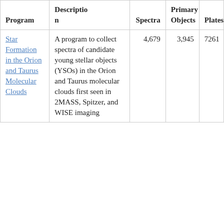| Program | Description | Spectra | Primary Objects | Plates |
| --- | --- | --- | --- | --- |
| Star Formation in the Orion and Taurus Molecular Clouds | A program to collect spectra of candidate young stellar objects (YSOs) in the Orion and Taurus molecular clouds first seen in 2MASS, Spitzer, and WISE imaging | 4,679 | 3,945 | 7261 |